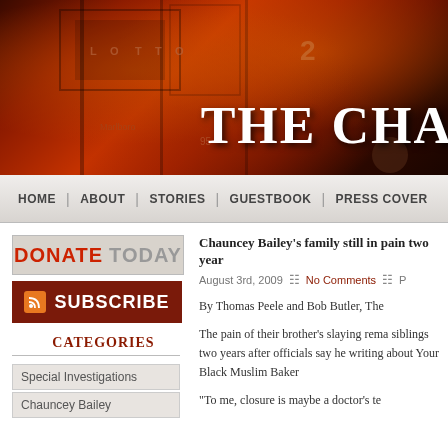[Figure (photo): Dark red/orange textured banner image resembling a rusty storefront or street scene with text 'THE CHA' visible in large white serif font]
HOME | ABOUT | STORIES | GUESTBOOK | PRESS COVER
[Figure (other): DONATE TODAY button - red text on grey background]
[Figure (other): SUBSCRIBE button - white text on dark red background with RSS icon]
CATEGORIES
Special Investigations
Chauncey Bailey
Chauncey Bailey's family still in pain two year
August 3rd, 2009    No Comments    P
By Thomas Peele and Bob Butler, The
The pain of their brother's slaying rema siblings two years after officials say he writing about Your Black Muslim Baker
“To me, closure is maybe a doctor's te